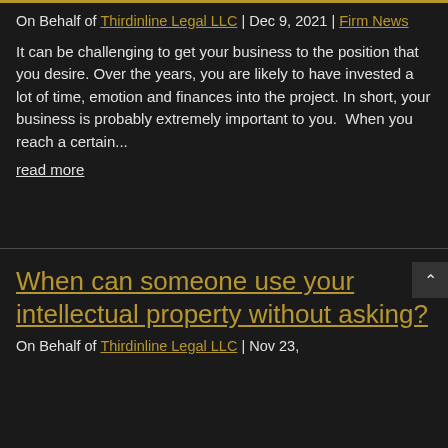On Behalf of Thirdinline Legal LLC | Dec 9, 2021 | Firm News
It can be challenging to get your business to the position that you desire. Over the years, you are likely to have invested a lot of time, emotion and finances into the project. In short, your business is probably extremely important to you.  When you reach a certain...
read more
When can someone use your intellectual property without asking?
On Behalf of Thirdinline Legal LLC | Nov 23,